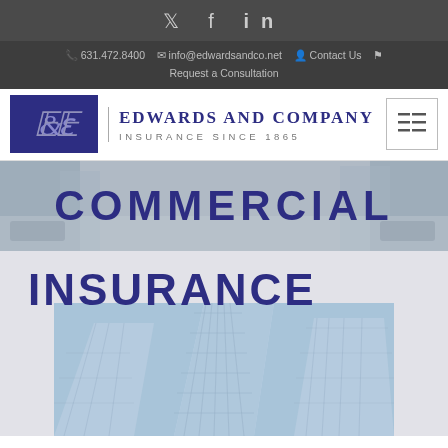Twitter Facebook LinkedIn social icons
631.472.8400  info@edwardsandco.net  Contact Us  Request a Consultation
[Figure (logo): Edwards and Company logo: dark blue square with stylized cursive E, company name and tagline Insurance Since 1865]
COMMERCIAL
INSURANCE
[Figure (photo): Upward-looking photo of modern glass skyscrapers against blue sky]